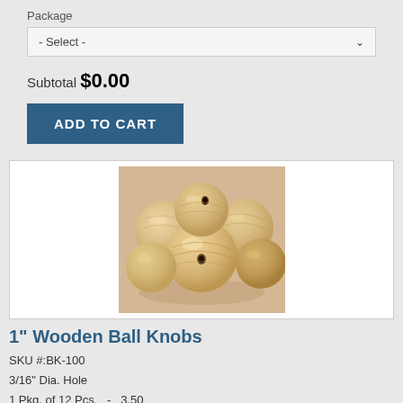Package
- Select -
Subtotal $0.00
ADD TO CART
[Figure (photo): Photo of several light-colored wooden ball knobs with center holes, piled together on a beige background.]
1" Wooden Ball Knobs
SKU #:BK-100
3/16" Dia. Hole
1 Pkg. of 12 Pcs.  -  3.50